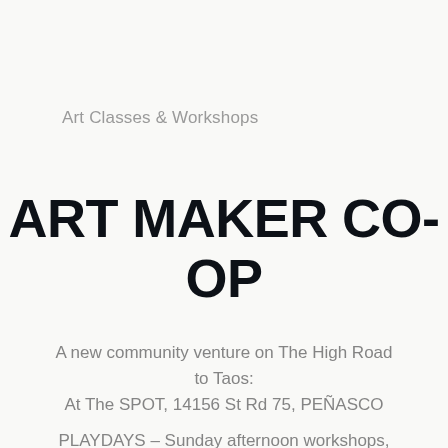Art Classes & Workshops
ART MAKER CO-OP
A new community venture on The High Road to Taos:
At The SPOT, 14156 St Rd 75, PEÑASCO
PLAYDAYS – Sunday afternoon workshops,